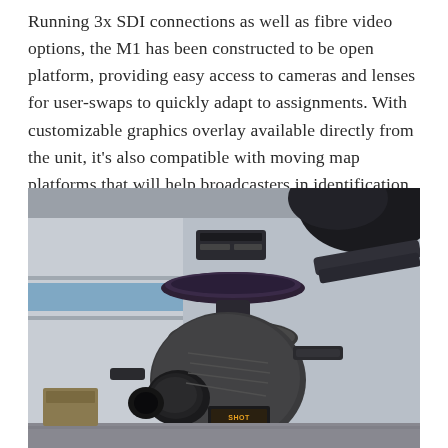Running 3x SDI connections as well as fibre video options, the M1 has been constructed to be open platform, providing easy access to cameras and lenses for user-swaps to quickly adapt to assignments. With customizable graphics overlay available directly from the unit, it's also compatible with moving map platforms that will help broadcasters in identification of ground locations and addresses for fast-paced ENG coverage.
[Figure (photo): Close-up photograph of a SHOTOVER M1 aerial camera gimbal mounted underneath a helicopter. The gimbal features a large circular rotation plate, housing for the camera system with a wide lens, and visible SHOTOVER branding on the camera body. The background shows a light blue and grey industrial building and the underside/strut of a dark helicopter.]